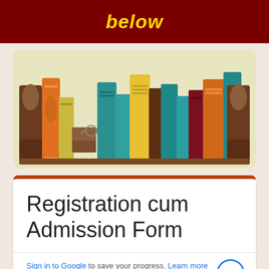below
[Figure (illustration): Illustrated bookshelf with colorful books in orange, teal, yellow, and brown on a wooden shelf with decorative ends, light green background]
Registration cum Admission Form
Sign in to Google to save your progress. Learn more
* Required
Your Full Name *